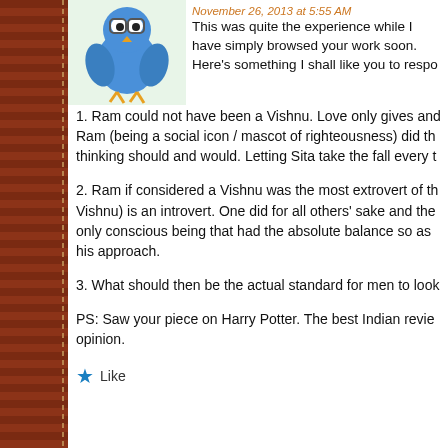[Figure (illustration): Blue cartoon character avatar, bird-like with big eyes]
November 26, 2013 at 5:55 AM
This was quite the experience while I have simply browsed your work soon. Here's something I shall like you to respo
1. Ram could not have been a Vishnu. Love only gives and Ram (being a social icon / mascot of righteousness) did th thinking should and would. Letting Sita take the fall every t
2. Ram if considered a Vishnu was the most extrovert of th Vishnu) is an introvert. One did for all others' sake and the only conscious being that had the absolute balance so as his approach.
3. What should then be the actual standard for men to look
PS: Saw your piece on Harry Potter. The best Indian revie opinion.
★ Like
Advertisements
[Figure (illustration): DuckDuckGo advertisement banner — orange background with text 'Search, browse, and email with more privacy. All in One Free App' and a phone showing DuckDuckGo app]